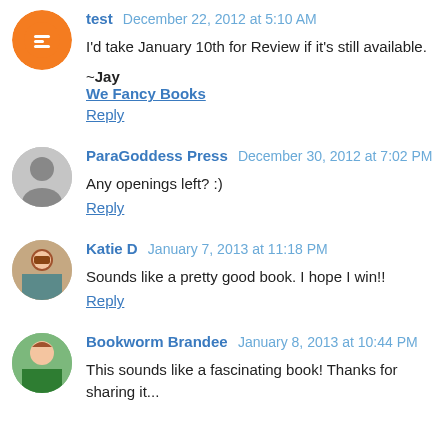test  December 22, 2012 at 5:10 AM
I'd take January 10th for Review if it's still available.
~Jay
We Fancy Books
Reply
ParaGoddess Press  December 30, 2012 at 7:02 PM
Any openings left? :)
Reply
Katie D  January 7, 2013 at 11:18 PM
Sounds like a pretty good book. I hope I win!!
Reply
Bookworm Brandee  January 8, 2013 at 10:44 PM
This sounds like a fascinating book! Thanks for sharing it...